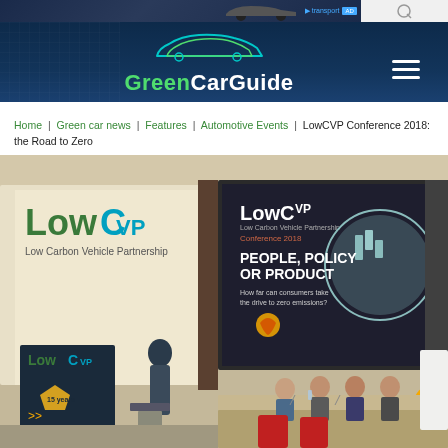[Figure (screenshot): Top advertisement banner showing a car and transport-related content on dark blue background]
[Figure (logo): GreenCarGuide website header with green and white car outline logo and hamburger menu icon on dark blue background]
Home | Green car news | Features | Automotive Events | LowCVP Conference 2018: the Road to Zero
[Figure (photo): Photo of LowCVP Conference 2018 showing a speaker at a podium and a panel seated at a table, with a large screen showing slides: LowCVP Conference 2018 - PEOPLE, POLICY OR PRODUCT - How far can consumers take the drive to zero emissions? Sponsored by Shell.]